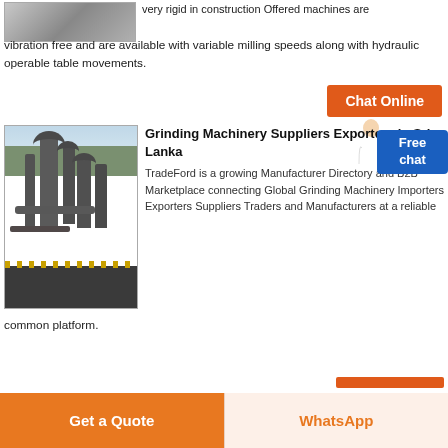[Figure (photo): Industrial machine equipment photo at top left]
very rigid in construction Offered machines are vibration free and are available with variable milling speeds along with hydraulic operable table movements.
[Figure (other): Orange Chat Online button]
[Figure (photo): Industrial grinding machinery with large pipes/towers and cyclone dust collectors]
Grinding Machinery Suppliers Exporters in Sri Lanka
TradeFord is a growing Manufacturer Directory and B2B Marketplace connecting Global Grinding Machinery Importers Exporters Suppliers Traders and Manufacturers at a reliable common platform.
[Figure (other): Free chat badge button (blue)]
[Figure (other): Get a Quote button (orange) and WhatsApp button at bottom]